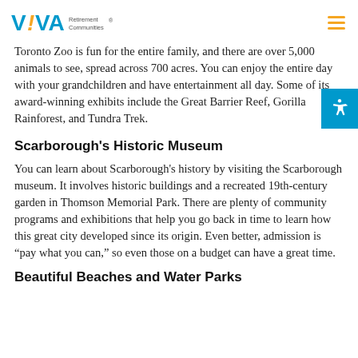VIVA Retirement Communities
Toronto Zoo is fun for the entire family, and there are over 5,000 animals to see, spread across 700 acres. You can enjoy the entire day with your grandchildren and have entertainment all day. Some of its award-winning exhibits include the Great Barrier Reef, Gorilla Rainforest, and Tundra Trek.
Scarborough's Historic Museum
You can learn about Scarborough's history by visiting the Scarborough museum. It involves historic buildings and a recreated 19th-century garden in Thomson Memorial Park. There are plenty of community programs and exhibitions that help you go back in time to learn how this great city developed since its origin. Even better, admission is “pay what you can,” so even those on a budget can have a great time.
Beautiful Beaches and Water Parks